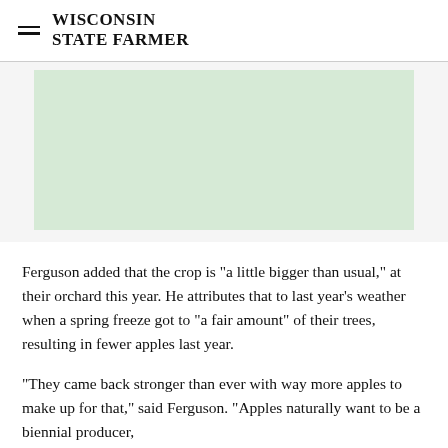WISCONSIN STATE FARMER
[Figure (other): Light green advertisement placeholder rectangle]
Ferguson added that the crop is "a little bigger than usual," at their orchard this year. He attributes that to last year's weather when a spring freeze got to "a fair amount" of their trees, resulting in fewer apples last year.
"They came back stronger than ever with way more apples to make up for that," said Ferguson. "Apples naturally want to be a biennial producer,